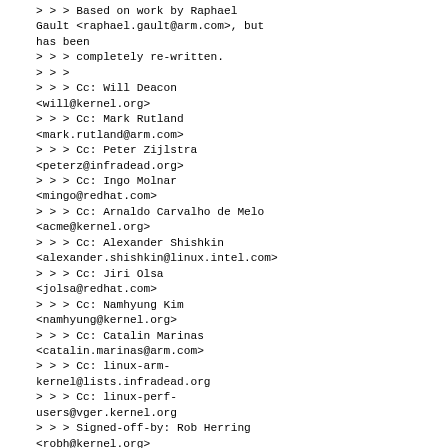> > > Based on work by Raphael Gault <raphael.gault@arm.com>, but has been
> > > completely re-written.
> > >
> > > Cc: Will Deacon <will@kernel.org>
> > > Cc: Mark Rutland <mark.rutland@arm.com>
> > > Cc: Peter Zijlstra <peterz@infradead.org>
> > > Cc: Ingo Molnar <mingo@redhat.com>
> > > Cc: Arnaldo Carvalho de Melo <acme@kernel.org>
> > > Cc: Alexander Shishkin <alexander.shishkin@linux.intel.com>
> > > Cc: Jiri Olsa <jolsa@redhat.com>
> > > Cc: Namhyung Kim <namhyung@kernel.org>
> > > Cc: Catalin Marinas <catalin.marinas@arm.com>
> > > Cc: linux-arm-kernel@lists.infradead.org
> > > Cc: linux-perf-users@vger.kernel.org
> > > Signed-off-by: Rob Herring <robh@kernel.org>
> > >
> > >